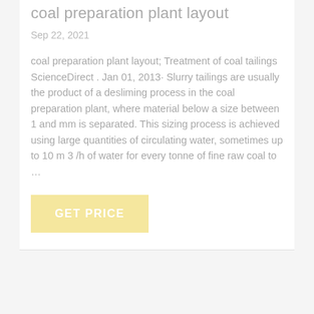coal preparation plant layout
Sep 22, 2021
coal preparation plant layout; Treatment of coal tailings ScienceDirect . Jan 01, 2013· Slurry tailings are usually the product of a desliming process in the coal preparation plant, where material below a size between 1 and mm is separated. This sizing process is achieved using large quantities of circulating water, sometimes up to 10 m 3 /h of water for every tonne of fine raw coal to …
GET PRICE